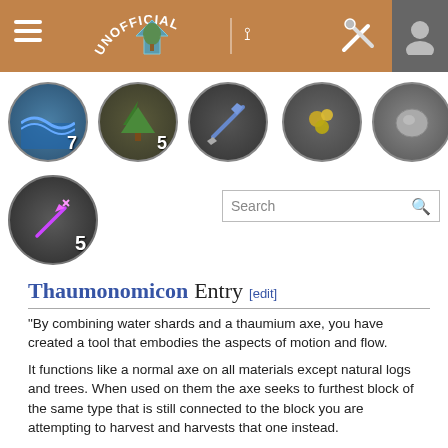UNOFFICIAL [wiki navigation header with icons and search bar]
[Figure (screenshot): Wiki navigation icons row showing circular game icons with numbers: water/waves icon (7), tree icon (5), pickaxe icon, gold nuggets icon, stone icon. Below: dark circle with purple magic wand icon (5).]
Thaumonomicon Entry [edit]
"By combining water shards and a thaumium axe, you have created a tool that embodies the aspects of motion and flow.
It functions like a normal axe on all materials except natural logs and trees. When used on them the axe seeks to furthest block of the same type that is still connected to the block you are attempting to harvest and harvests that one instead.
In effect you will chop trees from the top down even if you hit the bottom-most block.
Any wood chopped in this fashion will automatically float towards you.